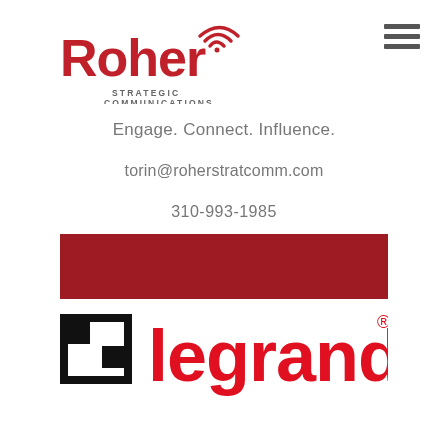[Figure (logo): Roher Strategic Communications logo — red text 'Roher' with wifi signal icon, below 'STRATEGIC COMMUNICATIONS' in small gray caps]
[Figure (other): Hamburger menu icon (three horizontal lines) in gray]
Engage. Connect. Influence.
torin@roherstratcomm.com
310-993-1985
[Figure (other): Dark red/crimson horizontal banner bar]
[Figure (logo): Legrand logo — black square bracket icon on left, red 'legrand' text with registered trademark symbol]